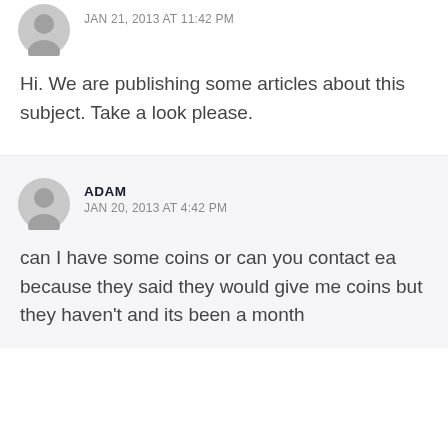JAN 21, 2013 AT 11:42 PM
Hi. We are publishing some articles about this subject. Take a look please.
ADAM
JAN 20, 2013 AT 4:42 PM
can I have some coins or can you contact ea because they said they would give me coins but they haven't and its been a month